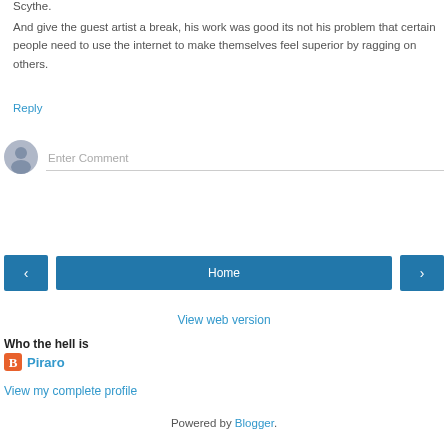Scythe.
And give the guest artist a break, his work was good its not his problem that certain people need to use the internet to make themselves feel superior by ragging on others.
Reply
[Figure (other): Comment input area with user avatar placeholder and 'Enter Comment' text field]
[Figure (other): Navigation buttons: left arrow, Home, right arrow]
View web version
Who the hell is
Piraro
View my complete profile
Powered by Blogger.